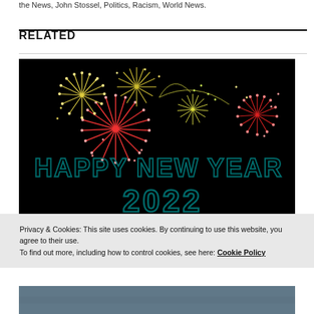the News, John Stossel, Politics, Racism, World News.
RELATED
[Figure (photo): Fireworks on black background with 'HAPPY NEW YEAR 2022' text overlay in teal/cyan letters]
Privacy & Cookies: This site uses cookies. By continuing to use this website, you agree to their use.
To find out more, including how to control cookies, see here: Cookie Policy
Close and accept
[Figure (photo): Partial bottom image, appears to be a blue/gray outdoor scene]